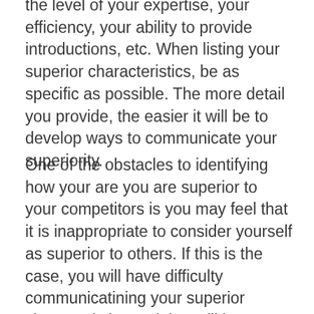the level of your expertise, your efficiency, your ability to provide introductions, etc. When listing your superior characteristics, be as specific as possible. The more detail you provide, the easier it will be to develop ways to communicate your superiority.
One of the obstacles to identifying how your are you are superior to your competitors is you may feel that it is inappropriate to consider yourself as superior to others. If this is the case, you will have difficulty communicatining your superior characteristics and that will be a problem. If this is the case, you need to understand that claiming superior characteristincs in business is not claiming that you are a superior